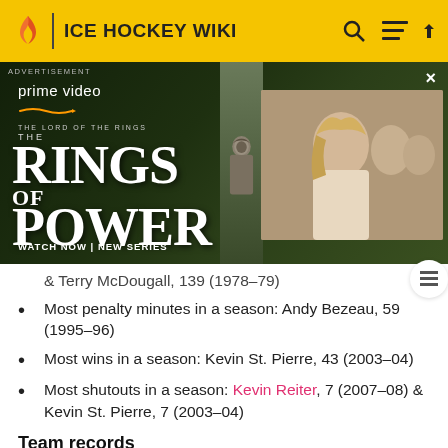ICE HOCKEY WIKI
[Figure (screenshot): Amazon Prime Video advertisement for 'The Lord of the Rings: The Rings of Power' — showing a robed stone figure on the left and a blonde woman with others on the right, with text 'WATCH NOW | NEW SERIES']
& Terry McDougall, 139 (1978–79)
Most penalty minutes in a season: Andy Bezeau, 59 (1995–96)
Most wins in a season: Kevin St. Pierre, 43 (2003–04)
Most shutouts in a season: Kevin Reiter, 7 (2007–08) & Kevin St. Pierre, 7 (2003–04)
Team records
On March 28, 2008, the Komets set a new professional hockey record of 23 straight home wins.